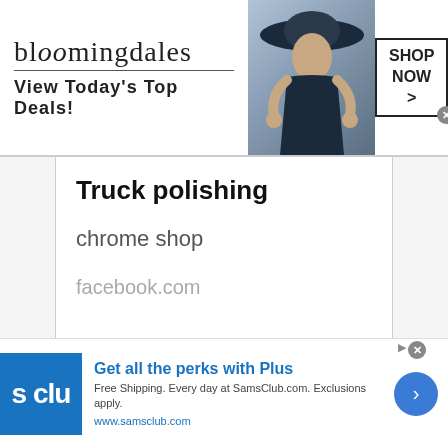[Figure (screenshot): Bloomingdales advertisement banner with logo, 'View Today's Top Deals!' text, model photo, and 'SHOP NOW >' button]
Truck polishing
chrome shop
facebook.com
OPEN
[Figure (screenshot): Sam's Club advertisement: 'Get all the perks with Plus. Free Shipping. Every day at SamsClub.com. Exclusions apply. www.samsclub.com']